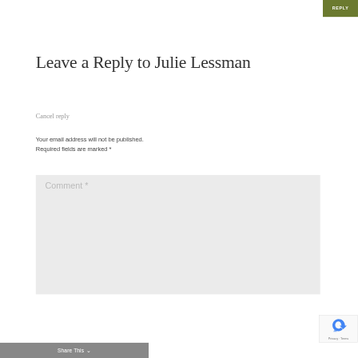REPLY
Leave a Reply to Julie Lessman
Cancel reply
Your email address will not be published. Required fields are marked *
Comment *
Share This